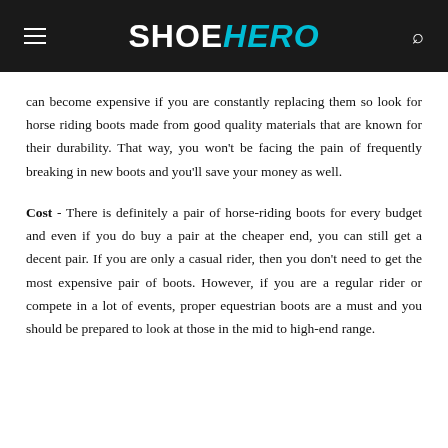SHOE HERO
can become expensive if you are constantly replacing them so look for horse riding boots made from good quality materials that are known for their durability. That way, you won't be facing the pain of frequently breaking in new boots and you'll save your money as well.
Cost - There is definitely a pair of horse-riding boots for every budget and even if you do buy a pair at the cheaper end, you can still get a decent pair. If you are only a casual rider, then you don't need to get the most expensive pair of boots. However, if you are a regular rider or compete in a lot of events, proper equestrian boots are a must and you should be prepared to look at those in the mid to high-end range.